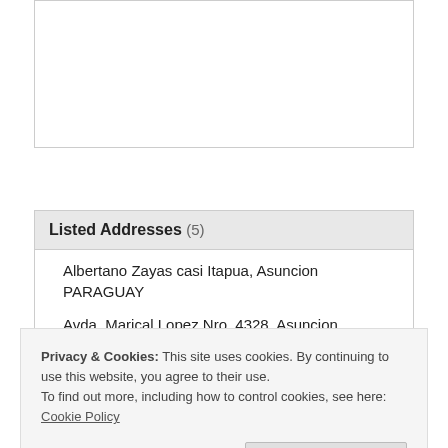[Figure (other): Empty white box/panel at the top of the page]
Listed Addresses (5)
Albertano Zayas casi Itapua, Asuncion PARAGUAY
Avda, Marical Lopez Nro. 4328, Asuncion PARAGUAY
Privacy & Cookies: This site uses cookies. By continuing to use this website, you agree to their use.
To find out more, including how to control cookies, see here: Cookie Policy
Pizarro esq. 18 de Julio Asuncion PARAGUAY